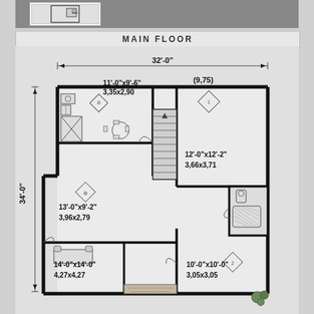[Figure (engineering-diagram): Main floor architectural floor plan showing room layouts with dimensions. Rooms include: kitchen/dining area (11'-0"x9'-6", 3.35x2.90), living room (13'-0"x9'-2", 3.96x2.79), large bedroom (14'-0"x14'-0", 4.27x4.27), master bedroom/bathroom area (12'-0"x12'-2", 3.66x3.71), smaller bedroom (10'-0"x10'-0", 3.05x3.05). Total footprint: 32'-0" wide x 34'-0" deep (9.75m). Staircase shown in center of plan.]
MAIN FLOOR